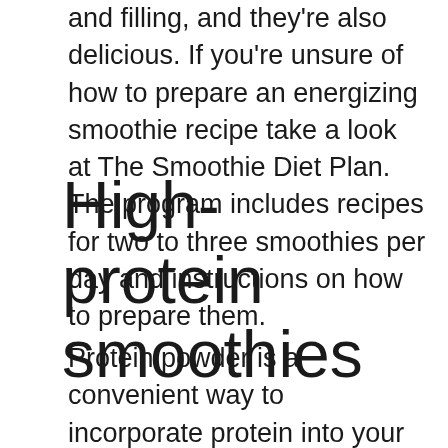and filling, and they're also delicious. If you're unsure of how to prepare an energizing smoothie recipe take a look at The Smoothie Diet Plan. The program includes recipes for two to three smoothies per day and instructions on how to prepare them.
High-protein smoothies
Protein powder is a convenient way to incorporate protein into your diet. However, it's not your only option. Many fruit smoothie recipes are rich in protein. Fruit smoothies are more protein-rich than protein powders. Finding a healthy recipe can be a challenge